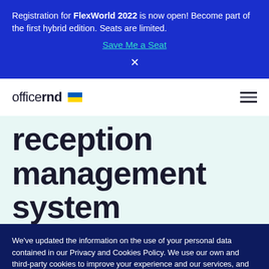Registration for FlexWorld 2022 is now open! Become part of the first hybrid edition. Seats are limited.
Save Me a Seat
×
[Figure (logo): officernd logo with Ukrainian flag]
reception management system
We've updated the information on the use of your personal data contained in our Privacy and Cookies Policy. We use our own and third-party cookies to improve your experience and our services, and to analyse the use of our website. If you continue browsing, we take that to mean that you accept their use.
Learn more
OK